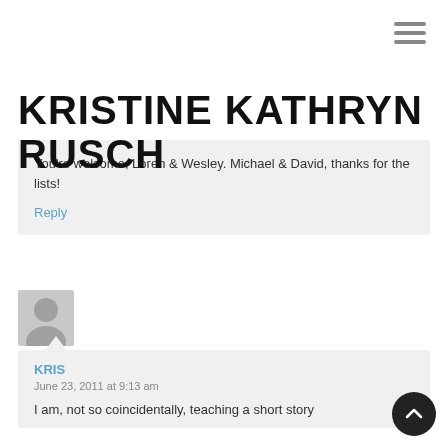KRISTINE KATHRYN RUSCH
You're welcome, Loren & Wesley. Michael & David, thanks for the lists!
Reply
[Figure (photo): Default avatar placeholder image, grey silhouette on light grey background]
KRIS
June 23, 2011 at 9:13 am
I am, not so coincidentally, teaching a short story